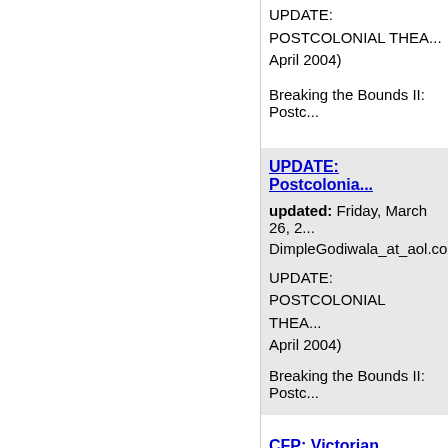UPDATE: POSTCOLONIAL THEA... April 2004)
Breaking the Bounds II: Postc...
UPDATE: Postcolonia...
updated: Friday, March 26, 2...
DimpleGodiwala_at_aol.com
UPDATE: POSTCOLONIAL THEA... April 2004)
Breaking the Bounds II: Postc...
CFP: Victorian Review...
updated: Friday, March 26, 2...
subamilt...